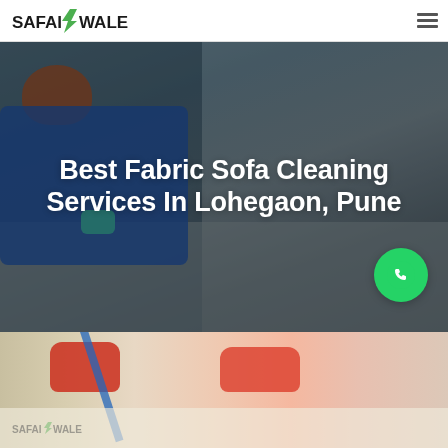[Figure (logo): SafaiWale logo with green lightning bolt icon and text]
[Figure (photo): Hero banner showing a person in blue uniform cleaning a surface with teal gloves, dark overlay background]
Best Fabric Sofa Cleaning Services In Lohegaon, Pune
[Figure (illustration): Green circular WhatsApp button with phone icon]
[Figure (photo): Partial bottom image showing cleaning gloves (red/orange) and a mop/brush on a light surface, with SafaiWale watermark logo]